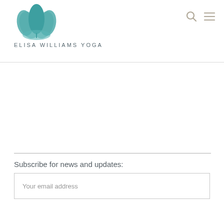[Figure (logo): Lotus flower logo in teal/green colors above the text ELISA WILLIAMS YOGA]
ELISA WILLIAMS YOGA
[Figure (illustration): Search icon (magnifying glass) and hamburger menu icon in tan/beige color, top right navigation]
Subscribe for news and updates:
Your email address